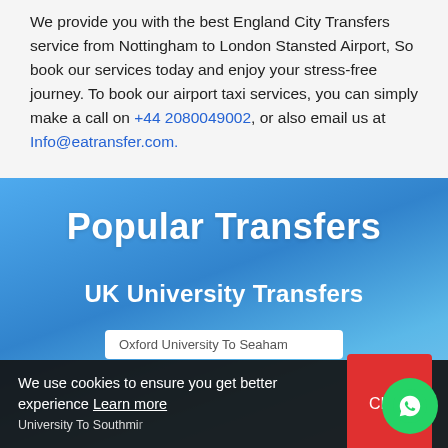We provide you with the best England City Transfers service from Nottingham to London Stansted Airport, So book our services today and enjoy your stress-free journey. To book our airport taxi services, you can simply make a call on +44 2080049002, or also email us at Info@eatransfer.com.
Popular Transfers
UK University Transfers
Oxford University To Seaham
University To Southmi...
We use cookies to ensure you get better experience Learn more